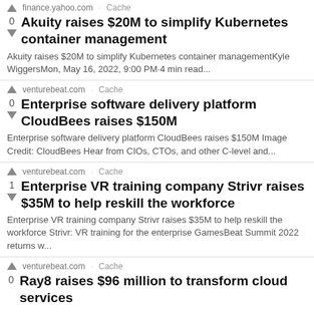finance.yahoo.com · Cache
0 Akuity raises $20M to simplify Kubernetes container management
Akuity raises $20M to simplify Kubernetes container managementKyle WiggersMon, May 16, 2022, 9:00 PM·4 min read...
venturebeat.com · Cache
0 Enterprise software delivery platform CloudBees raises $150M
Enterprise software delivery platform CloudBees raises $150M Image Credit: CloudBees Hear from CIOs, CTOs, and other C-level and...
venturebeat.com · Cache
1 Enterprise VR training company Strivr raises $35M to help reskill the workforce
Enterprise VR training company Strivr raises $35M to help reskill the workforce Strivr: VR training for the enterprise GamesBeat Summit 2022 returns w...
venturebeat.com · Cache
0 Ray8 raises $96 million to transform cloud services